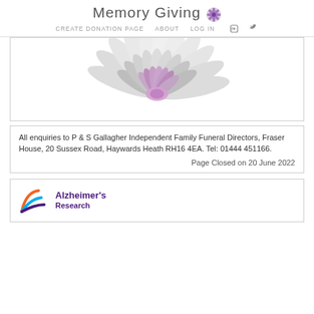Memory Giving
CREATE DONATION PAGE  ABOUT  LOG IN
[Figure (illustration): Gray and purple dahlia flower illustration, partially visible, centered]
All enquiries to P & S Gallagher Independent Family Funeral Directors, Fraser House, 20 Sussex Road, Haywards Heath RH16 4EA. Tel: 01444 451166.
Page Closed on 20 June 2022
[Figure (logo): Alzheimer's Research UK logo with orange, blue and purple swoosh marks and bold purple text]